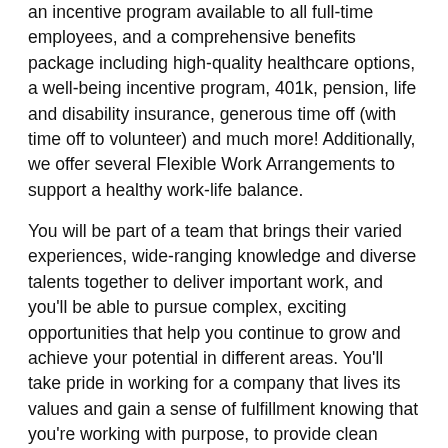an incentive program available to all full-time employees, and a comprehensive benefits package including high-quality healthcare options, a well-being incentive program, 401k, pension, life and disability insurance, generous time off (with time off to volunteer) and much more! Additionally, we offer several Flexible Work Arrangements to support a healthy work-life balance.
You will be part of a team that brings their varied experiences, wide-ranging knowledge and diverse talents together to deliver important work, and you'll be able to pursue complex, exciting opportunities that help you continue to grow and achieve your potential in different areas. You'll take pride in working for a company that lives its values and gain a sense of fulfillment knowing that you're working with purpose, to provide clean energy to feed and fuel the world sustainably.
CF Industries is an Equal Opportunity/Affirmative Action employer. All qualified applicants will receive consideration for employment without regard to race, color, religion, sex, national origin, disability, or protected Veteran status.